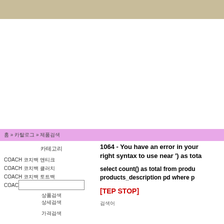홈 » 카탈로그 » 제품검색
카테고리
COACH 코치백 앤티크
COACH 코치백 클러치
COACH 코치백 토트백
COACH 코 기타백
1064 - You have an error in your right syntax to use near ') as tota
select count() as total from produ products_description pd where p
[TEP STOP]
검색어
상품검색
상세검색
가격검색